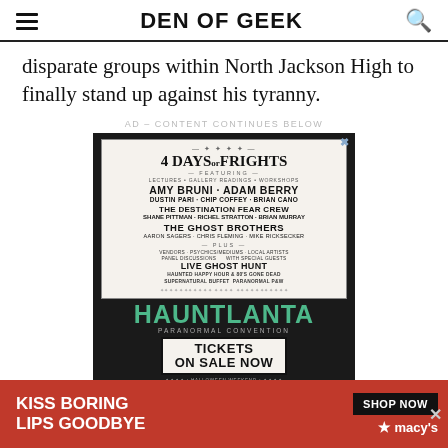DEN OF GEEK
disparate groups within North Jackson High to finally stand up against his tyranny.
AD – CONTENT CONTINUES BELOW
[Figure (other): Advertisement for Hauntlanta Paranormal Convention featuring 4 Days of Frights with various paranormal investigators including Amy Bruni, Adam Berry, Dustin Pari, Chip Coffey, Brian Cano, The Destination Fear Crew, The Ghost Brothers and others. Tickets on sale now at www.hauntlanta.com]
[Figure (other): Advertisement banner: KISS BORING LIPS GOODBYE - SHOP NOW - Macy's]